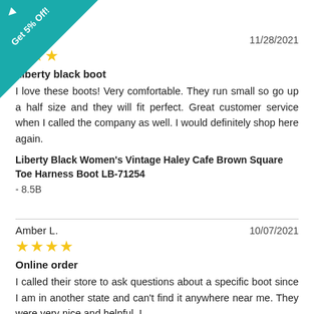[Figure (other): Teal triangular corner banner with text 'Get 5% Off!' and a small arrow icon]
en K.
11/28/2021
[Figure (other): 3 yellow star rating icons]
Liberty black boot
I love these boots! Very comfortable. They run small so go up a half size and they will fit perfect. Great customer service when I called the company as well. I would definitely shop here again.
Liberty Black Women's Vintage Haley Cafe Brown Square Toe Harness Boot LB-71254
- 8.5B
Amber L.
10/07/2021
[Figure (other): 4 yellow star rating icons]
Online order
I called their store to ask questions about a specific boot since I am in another state and can't find it anywhere near me. They were very nice and helpful. I